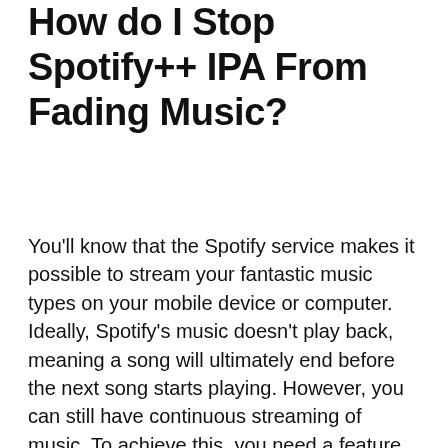How do I Stop Spotify++ IPA From Fading Music?
You'll know that the Spotify service makes it possible to stream your fantastic music types on your mobile device or computer. Ideally, Spotify's music doesn't play back, meaning a song will ultimately end before the next song starts playing. However, you can still have continuous streaming of music. To achieve this, you need a feature known as Crossfade. The feature usually mixes two songs, thus resulting in a smooth music translation from one piece to another hence a fantastic listening experience.